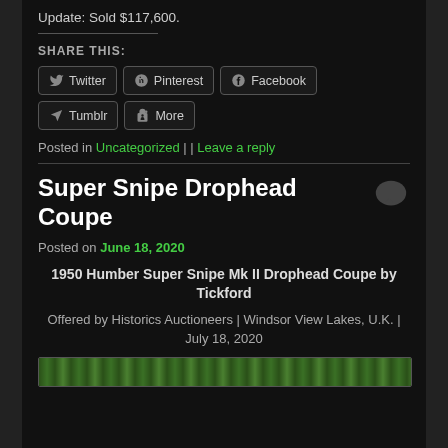Update: Sold $117,600.
SHARE THIS:
Twitter | Pinterest | Facebook | Tumblr | More
Posted in Uncategorized | | Leave a reply
Super Snipe Drophead Coupe
Posted on June 18, 2020
1950 Humber Super Snipe Mk II Drophead Coupe by Tickford
Offered by Historics Auctioneers | Windsor View Lakes, U.K. | July 18, 2020
[Figure (photo): Green foliage/landscape photo at the bottom of the page]